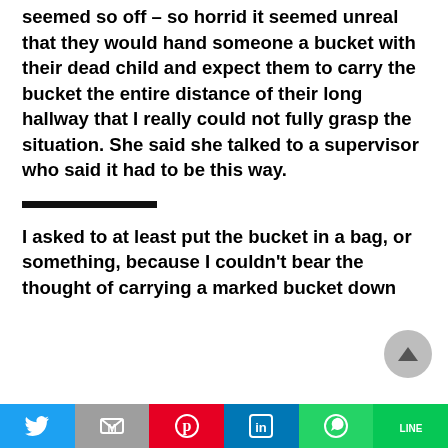seemed so off – so horrid it seemed unreal that they would hand someone a bucket with their dead child and expect them to carry the bucket the entire distance of their long hallway that I really could not fully grasp the situation. She said she talked to a supervisor who said it had to be this way.
I asked to at least put the bucket in a bag, or something, because I couldn't bear the thought of carrying a marked bucket down
[Figure (other): Social media share bar with Twitter, Gmail, Pinterest, LinkedIn, WhatsApp, and LINE buttons]